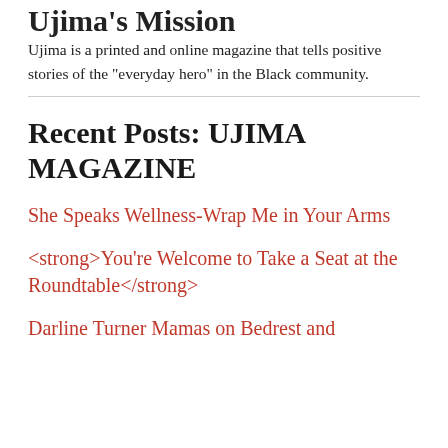Ujima's Mission
Ujima is a printed and online magazine that tells positive stories of the "everyday hero" in the Black community.
Recent Posts: UJIMA MAGAZINE
She Speaks Wellness-Wrap Me in Your Arms
<strong>You're Welcome to Take a Seat at the Roundtable</strong>
Darline Turner Mamas on Bedrest and